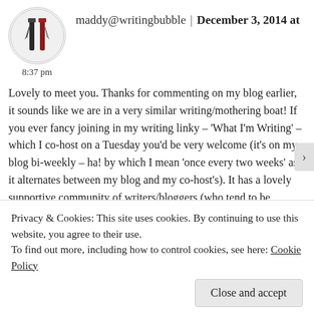maddy@writingbubble | December 3, 2014 at 8:37 pm
Lovely to meet you. Thanks for commenting on my blog earlier, it sounds like we are in a very similar writing/mothering boat! If you ever fancy joining in my writing linky – 'What I'm Writing' – which I co-host on a Tuesday you'd be very welcome (it's on my blog bi-weekly – ha! by which I mean 'once every two weeks' as it alternates between my blog and my co-host's). It has a lovely supportive community of writers/bloggers (who tend to be mothers too) linking up. No pressure though – I know what it's like trying to find the time for all the writing/blogging/mothering malarky. I'll definitely be following your blog and I look
Privacy & Cookies: This site uses cookies. By continuing to use this website, you agree to their use.
To find out more, including how to control cookies, see here: Cookie Policy
Close and accept